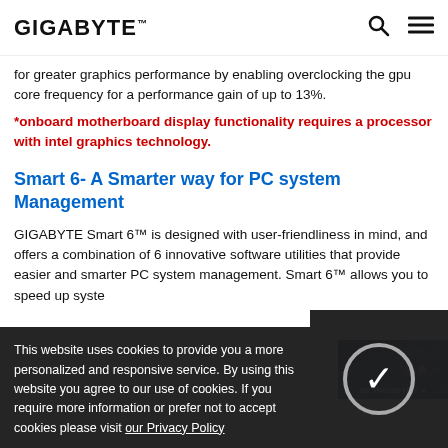GIGABYTE
for greater graphics performance by enabling overclocking the gpu core frequency for a performance gain of up to 13%.
*onboard motherboard display functionality requires a processor with intel graphics technology.
Smart 6- A Smarter way for PC system Management
GIGABYTE Smart 6™ is designed with user-friendliness in mind, and offers a combination of 6 innovative software utilities that provide easier and smarter PC system management. Smart 6™ allows you to speed up syste… a secure … gs easily with
[Figure (screenshot): 3D Industry advertisement banner in top-right corner showing a 3D render of a circuit board with text '3D INDUSTRY']
This website uses cookies to provide you a more personalized and responsive service. By using this website you agree to our use of cookies. If you require more information or prefer not to accept cookies please visit our Privacy Policy